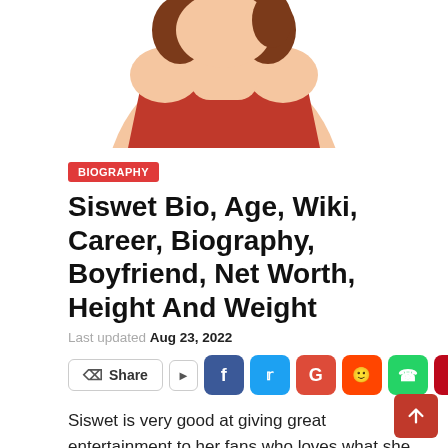[Figure (illustration): Cartoon/illustration of a woman with brown hair wearing a red dress, cropped at top of page]
BIOGRAPHY
Siswet Bio, Age, Wiki, Career, Biography, Boyfriend, Net Worth, Height And Weight
Last updated Aug 23, 2022
Siswet is very good at giving great entertainment to her fans who loves what she does. I have listed her full biography, age, relationship, weight and height, wiki, net worth, measurement and more of the things she likes to do. Let me give this detailed…